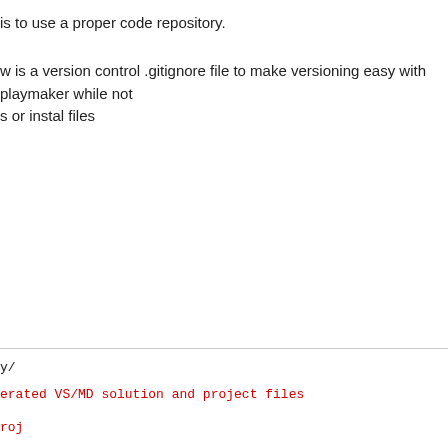is to use a proper code repository.
w is a version control .gitignore file to make versioning easy with playmaker while not
s or instal files
y/
erated VS/MD solution and project files
roj